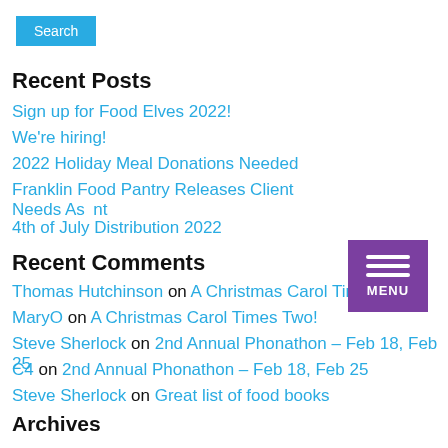Search
Recent Posts
Sign up for Food Elves 2022!
We're hiring!
2022 Holiday Meal Donations Needed
Franklin Food Pantry Releases Client Needs Assessment
4th of July Distribution 2022
Recent Comments
Thomas Hutchinson on A Christmas Carol Times Two!
MaryO on A Christmas Carol Times Two!
Steve Sherlock on 2nd Annual Phonathon – Feb 18, Feb 25
C4 on 2nd Annual Phonathon – Feb 18, Feb 25
Steve Sherlock on Great list of food books
Archives
August 2022
July 2022